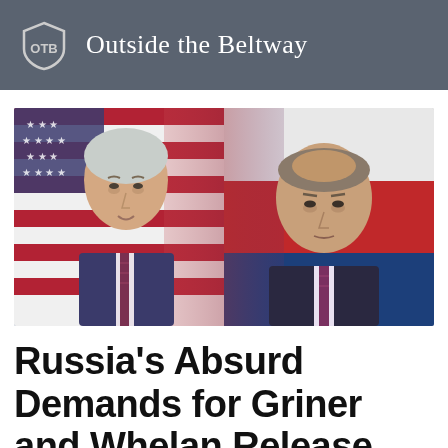Outside the Beltway
[Figure (photo): Composite photo of President Joe Biden on the left against a US flag background and President Vladimir Putin on the right against a Russian flag background, both wearing suits and ties]
Russia's Absurd Demands for Griner and Whelan Release